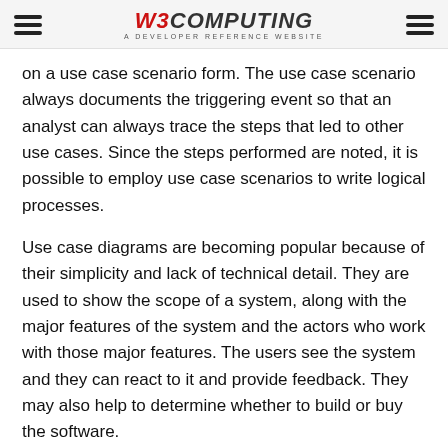W3COMPUTING - A DEVELOPER REFERENCE WEBSITE
on a use case scenario form. The use case scenario always documents the triggering event so that an analyst can always trace the steps that led to other use cases. Since the steps performed are noted, it is possible to employ use case scenarios to write logical processes.
Use case diagrams are becoming popular because of their simplicity and lack of technical detail. They are used to show the scope of a system, along with the major features of the system and the actors who work with those major features. The users see the system and they can react to it and provide feedback. They may also help to determine whether to build or buy the software.
The main reasons for writing use cases are listed below: